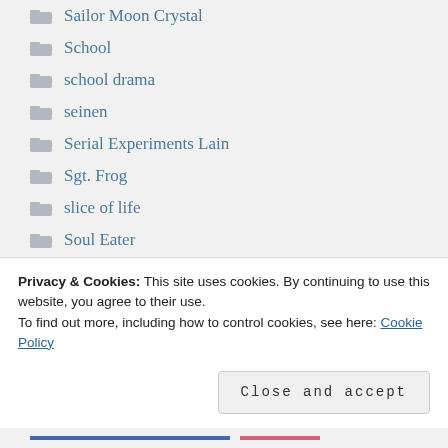Sailor Moon Crystal
School
school drama
seinen
Serial Experiments Lain
Sgt. Frog
slice of life
Soul Eater
Soul Eater Not!
Steins Gate
Privacy & Cookies: This site uses cookies. By continuing to use this website, you agree to their use.
To find out more, including how to control cookies, see here: Cookie Policy
Close and accept